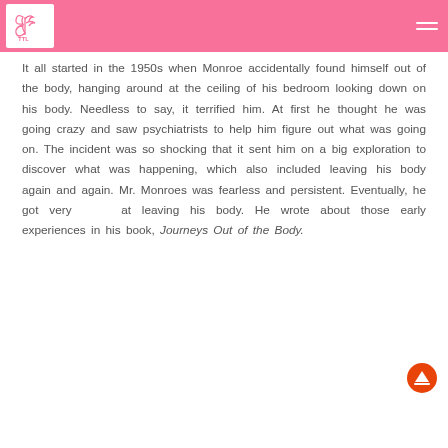TTL [logo with butterfly/flower icon and hamburger menu]
It all started in the 1950s when Monroe accidentally found himself out of the body, hanging around at the ceiling of his bedroom looking down on his body. Needless to say, it terrified him. At first he thought he was going crazy and saw psychiatrists to help him figure out what was going on. The incident was so shocking that it sent him on a big exploration to discover what was happening, which also included leaving his body again and again. Mr. Monroes was fearless and persistent. Eventually, he got very good at leaving his body. He wrote about those early experiences in his book, Journeys Out of the Body.